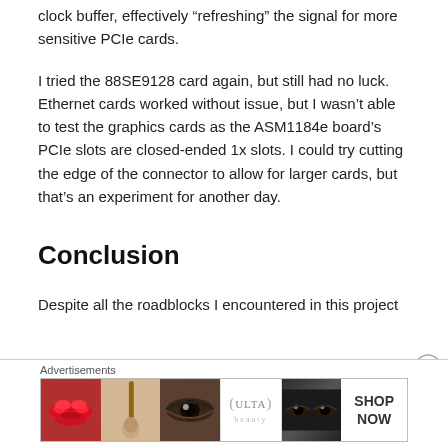clock buffer, effectively “refreshing” the signal for more sensitive PCIe cards.
I tried the 88SE9128 card again, but still had no luck. Ethernet cards worked without issue, but I wasn’t able to test the graphics cards as the ASM1184e board’s PCIe slots are closed-ended 1x slots. I could try cutting the edge of the connector to allow for larger cards, but that’s an experiment for another day.
Conclusion
Despite all the roadblocks I encountered in this project
[Figure (infographic): Advertisement banner for ULTA beauty with makeup imagery including lips, brush, eye, ULTA logo, eyes closeup, and SHOP NOW call to action]